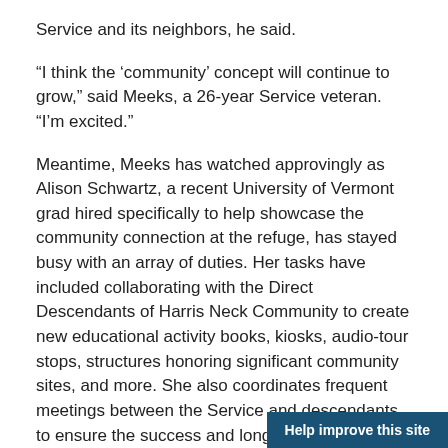Service and its neighbors, he said.
“I think the ‘community’ concept will continue to grow,” said Meeks, a 26-year Service veteran. “I’m excited.”
Meantime, Meeks has watched approvingly as Alison Schwartz, a recent University of Vermont grad hired specifically to help showcase the community connection at the refuge, has stayed busy with an array of duties. Her tasks have included collaborating with the Direct Descendants of Harris Neck Community to create new educational activity books, kiosks, audio-tour stops, structures honoring significant community sites, and more. She also coordinates frequent meetings between the Service and descendants to ensure the success and longevity of their partnership.
Alison Schwartz is a Service intern hired